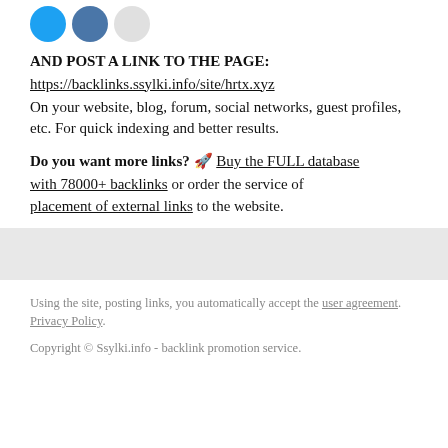[Figure (illustration): Three partial social media icon circles (Twitter blue, VK blue, Facebook gray) visible at top]
AND POST A LINK TO THE PAGE:
https://backlinks.ssylki.info/site/hrtx.xyz
On your website, blog, forum, social networks, guest profiles, etc. For quick indexing and better results.
Do you want more links? 🚀 Buy the FULL database with 78000+ backlinks or order the service of placement of external links to the website.
Using the site, posting links, you automatically accept the user agreement. Privacy Policy.
Copyright © Ssylki.info - backlink promotion service.